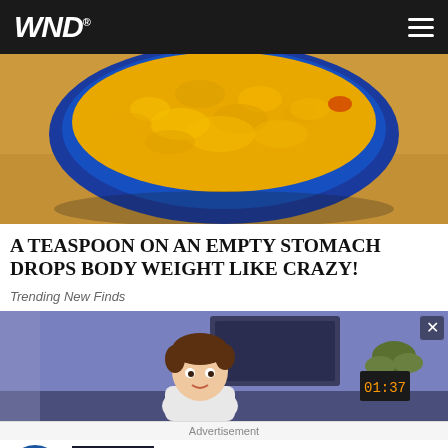WND
[Figure (photo): Close-up photo of a blue ceramic bowl filled with bright yellow turmeric powder on a wooden surface]
A TEASPOON ON AN EMPTY STOMACH DROPS BODY WEIGHT LIKE CRAZY!
Trending New Finds
[Figure (illustration): Animated cartoon illustration of a young man sitting in a room with a TV screen and plants in the background]
Advertisement
20 Celebs With Bizarre Hidden Talents And Skills